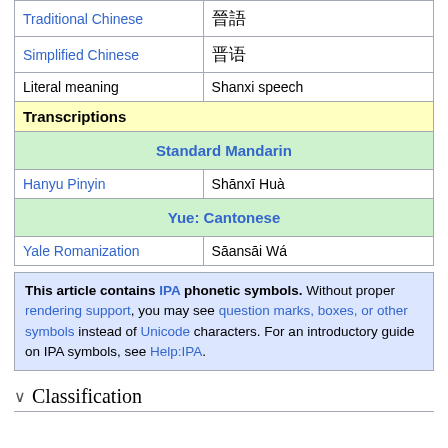| Traditional Chinese | 晉語 |
| Simplified Chinese | 晋语 |
| Literal meaning | Shanxi speech |
| Transcriptions |  |
| Standard Mandarin |  |
| Hanyu Pinyin | Shānxī Huà |
| Yue: Cantonese |  |
| Yale Romanization | Sāansāi Wá |
This article contains IPA phonetic symbols. Without proper rendering support, you may see question marks, boxes, or other symbols instead of Unicode characters. For an introductory guide on IPA symbols, see Help:IPA.
Classification